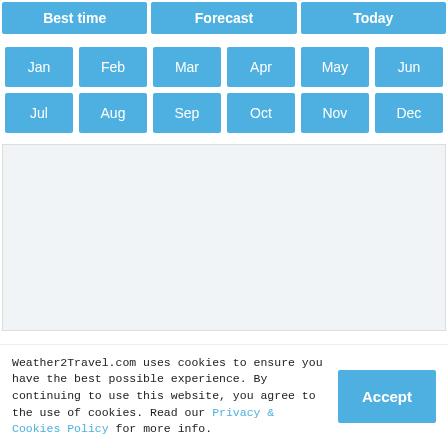Best time
Forecast
Today
Jan
Feb
Mar
Apr
May
Jun
Jul
Aug
Sep
Oct
Nov
Dec
[Figure (other): Empty content area with light blue/grey background]
Weather2Travel.com uses cookies to ensure you have the best possible experience. By continuing to use this website, you agree to the use of cookies. Read our Privacy & Cookies Policy for more info.